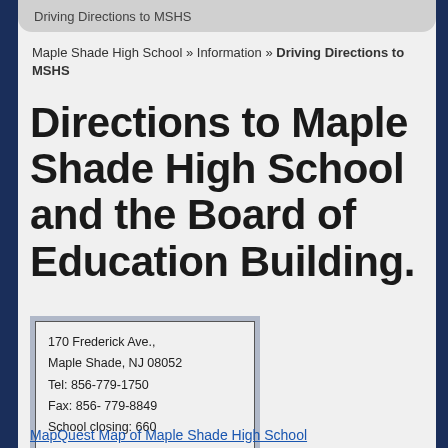Driving Directions to MSHS
Maple Shade High School » Information » Driving Directions to MSHS
Directions to Maple Shade High School and the Board of Education Building.
170 Frederick Ave., Maple Shade, NJ 08052
Tel: 856-779-1750
Fax: 856- 779-8849
School closing: 660
MapQuest Map of Maple Shade High School